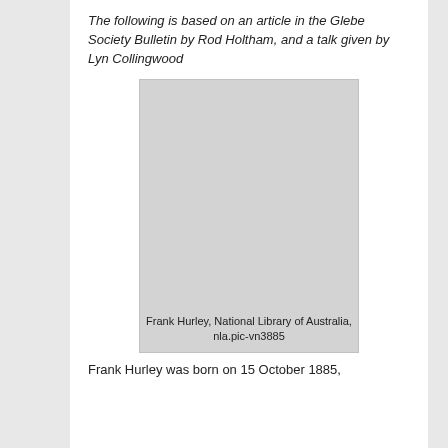The following is based on an article in the Glebe Society Bulletin by Rod Holtham, and a talk given by Lyn Collingwood
[Figure (photo): Placeholder image for a photograph of Frank Hurley, sourced from the National Library of Australia, reference nla.pic-vn3885]
Frank Hurley, National Library of Australia, nla.pic-vn3885
Frank Hurley was born on 15 October 1885,